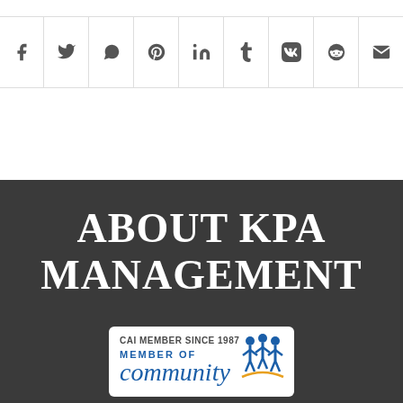[Figure (other): Social media sharing icon bar with icons for Facebook, Twitter, WhatsApp, Pinterest, LinkedIn, Tumblr, VK, Reddit, and Email]
ABOUT KPA MANAGEMENT
[Figure (logo): CAI Member Since 1987 badge with human figures logo and 'MEMBER OF community' text in blue]